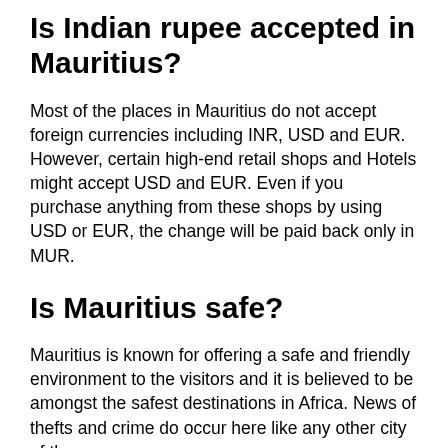Is Indian rupee accepted in Mauritius?
Most of the places in Mauritius do not accept foreign currencies including INR, USD and EUR. However, certain high-end retail shops and Hotels might accept USD and EUR. Even if you purchase anything from these shops by using USD or EUR, the change will be paid back only in MUR.
Is Mauritius safe?
Mauritius is known for offering a safe and friendly environment to the visitors and it is believed to be amongst the safest destinations in Africa. News of thefts and crime do occur here like any other city of the